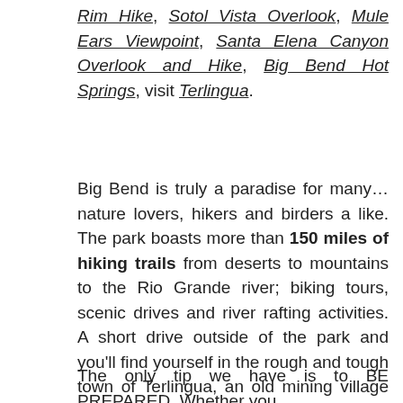Rim Hike, Sotol Vista Overlook, Mule Ears Viewpoint, Santa Elena Canyon Overlook and Hike, Big Bend Hot Springs, visit Terlingua.
Big Bend is truly a paradise for many… nature lovers, hikers and birders a like. The park boasts more than 150 miles of hiking trails from deserts to mountains to the Rio Grande river; biking tours, scenic drives and river rafting activities. A short drive outside of the park and you'll find yourself in the rough and tough town of Terlingua, an old mining village that now has a boasting population of 58!! (according to the 2010 census) and hosts the annual Original Terlingua International Chili Cookoff!
The only tip we have is to BE PREPARED. Whether you are there for hiking, camping, or in a RVing, and...